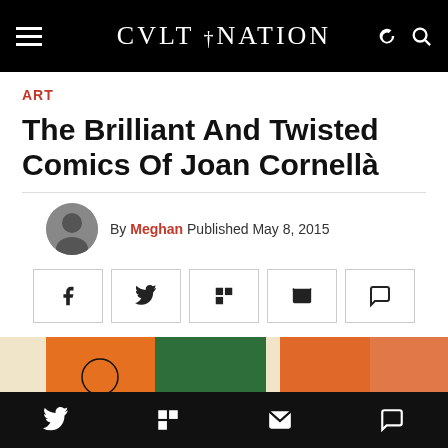CVLT NATION
ART
The Brilliant And Twisted Comics Of Joan Cornellà
By Meghan Published May 8, 2015
[Figure (screenshot): Social share buttons: Facebook, Twitter, Flipboard, Email, Comment]
[Figure (photo): Partial view of Joan Cornellà comic artwork showing colorful illustrated panels on a cream background]
Twitter, Flipboard, Email, Comment social share icons